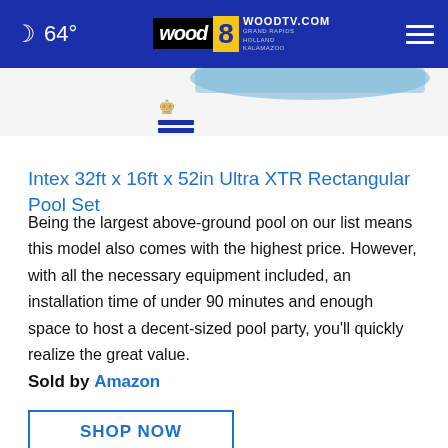64° WOODTV.COM GRAND RAPIDS HOLLAND KALAMAZOO
[Figure (screenshot): Partial product image of a pool with crown icon and menu lines below]
Intex 32ft x 16ft x 52in Ultra XTR Rectangular Pool Set
Being the largest above-ground pool on our list means this model also comes with the highest price. However, with all the necessary equipment included, an installation time of under 90 minutes and enough space to host a decent-sized pool party, you'll quickly realize the great value.
Sold by Amazon
SHOP NOW